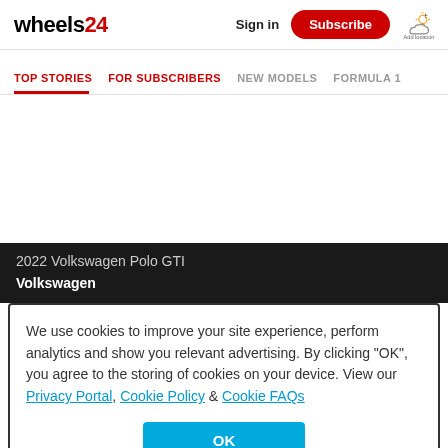wheels24 | Sign in | Subscribe | Add location
TOP STORIES | FOR SUBSCRIBERS | NEW MODELS | FORMULA 1
[Figure (photo): Large image area showing 2022 Volkswagen Polo GTI - content not visible (loading or placeholder)]
2022 Volkswagen Polo GTI
Volkswagen
We use cookies to improve your site experience, perform analytics and show you relevant advertising. By clicking "OK", you agree to the storing of cookies on your device. View our Privacy Portal, Cookie Policy & Cookie FAQs